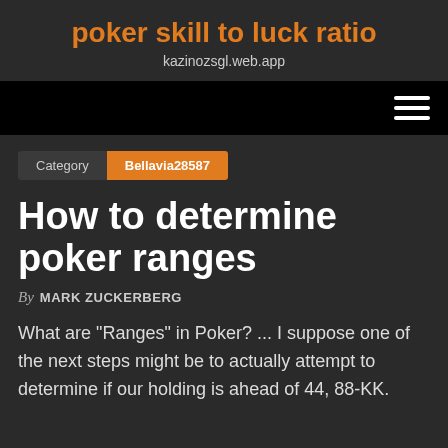poker skill to luck ratio
kazinozsgl.web.app
Category  Bellavia28587
How to determine poker ranges
By MARK ZUCKERBERG
What are "Ranges" in Poker? ... I suppose one of the next steps might be to actually attempt to determine if our holding is ahead of 44, 88-KK.